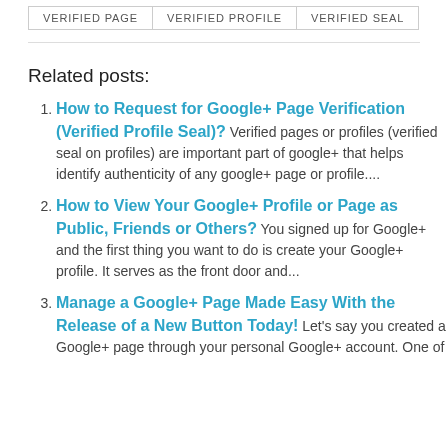| VERIFIED PAGE | VERIFIED PROFILE | VERIFIED SEAL |
| --- | --- | --- |
Related posts:
How to Request for Google+ Page Verification (Verified Profile Seal)? Verified pages or profiles (verified seal on profiles) are important part of google+ that helps identify authenticity of any google+ page or profile....
How to View Your Google+ Profile or Page as Public, Friends or Others? You signed up for Google+ and the first thing you want to do is create your Google+ profile. It serves as the front door and...
Manage a Google+ Page Made Easy With the Release of a New Button Today! Let's say you created a Google+ page through your personal Google+ account. One of